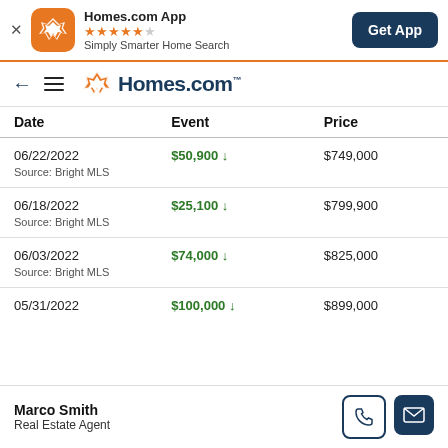[Figure (screenshot): Homes.com app banner with orange icon, star rating, tagline, and Get App button]
[Figure (logo): Homes.com navigation bar with back arrow, hamburger menu, and Homes.com logo]
| Date | Event | Price |
| --- | --- | --- |
| 06/22/2022 | $50,900 ↓
Source: Bright MLS | $749,000 |
| 06/18/2022 | $25,100 ↓
Source: Bright MLS | $799,900 |
| 06/03/2022 | $74,000 ↓
Source: Bright MLS | $825,000 |
| 05/31/2022 | $100,000 ↓ | $899,000 |
Marco Smith
Real Estate Agent